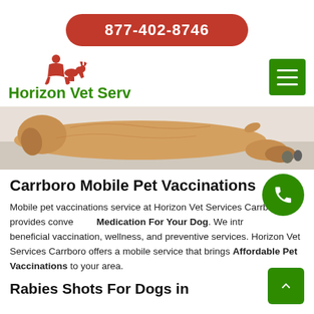877-402-8746
Horizon Vet Serv
[Figure (photo): A golden retriever dog lying down on a floor, showing its paws, photographed from the side.]
Carrboro Mobile Pet Vaccinations
Mobile pet vaccinations service at Horizon Vet Services Carrboro provides convenient Medication For Your Dog. We introduce beneficial vaccination, wellness, and preventive services. Horizon Vet Services Carrboro offers a mobile service that brings Affordable Pet Vaccinations to your area.
Rabies Shots For Dogs in